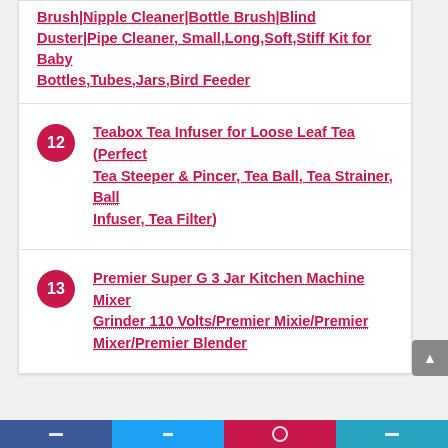Brush|Nipple Cleaner|Bottle Brush|Blind Duster|Pipe Cleaner, Small,Long,Soft,Stiff Kit for Baby Bottles,Tubes,Jars,Bird Feeder
12 Teabox Tea Infuser for Loose Leaf Tea (Perfect Tea Steeper & Pincer, Tea Ball, Tea Strainer, Ball Infuser, Tea Filter)
13 Premier Super G 3 Jar Kitchen Machine Mixer Grinder 110 Volts/Premier Mixie/Premier Mixer/Premier Blender